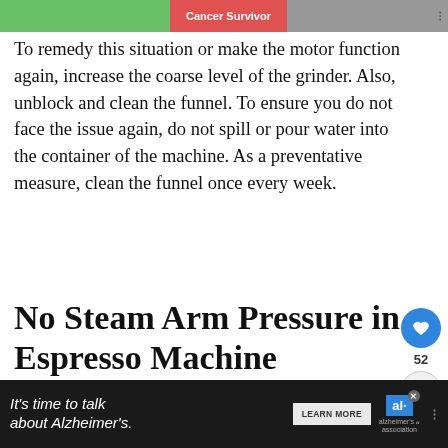[Partial banner image — cropped top of page]
To remedy this situation or make the motor function again, increase the coarse level of the grinder. Also, unblock and clean the funnel. To ensure you do not face the issue again, do not spill or pour water into the container of the machine. As a preventative measure, clean the funnel once every week.
No Steam Arm Pressure in Espresso Machine
[Figure (photo): A hand holding a steam arm wand of an espresso machine, with a dark background on the right side.]
[Figure (infographic): WHAT'S NEXT arrow label with a circular thumbnail and text 'Coffee Maker Keeps...']
[Figure (infographic): Dark advertisement bar: 'It's time to talk about Alzheimer's.' with a LEARN MORE button and Alzheimer's Association logo.]